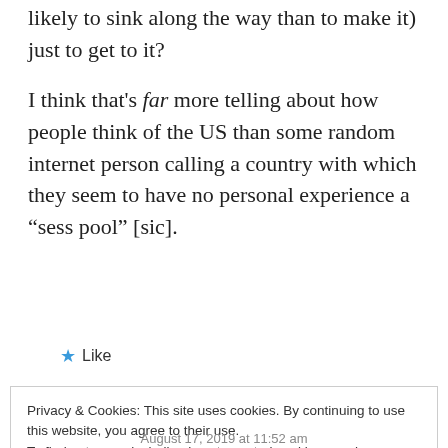likely to sink along the way than to make it) just to get to it?
I think that's far more telling about how people think of the US than some random internet person calling a country with which they seem to have no personal experience a “sess pool” [sic].
★ Like
Privacy & Cookies: This site uses cookies. By continuing to use this website, you agree to their use.
To find out more, including how to control cookies, see here: Cookie Policy
Close and accept
August 17, 2019 at 11:52 am